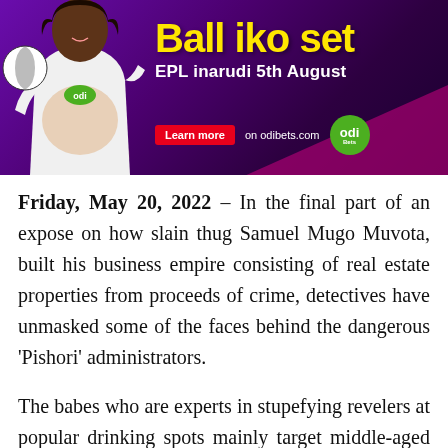[Figure (illustration): Advertisement banner for OdiBets: purple/magenta gradient background, a pregnant woman in a white hoodie holding a football, large yellow bold text 'Ball iko set', white text 'EPL inarudi 5th August', red 'Learn more' button, 'on odibets.com' text, and green ODI logo circle.]
Friday, May 20, 2022 – In the final part of an expose on how slain thug Samuel Mugo Muvota, built his business empire consisting of real estate properties from proceeds of crime, detectives have unmasked some of the faces behind the dangerous 'Pishori' administrators.
The babes who are experts in stupefying revelers at popular drinking spots mainly target middle-aged to older men whom they suspect to have fat bank